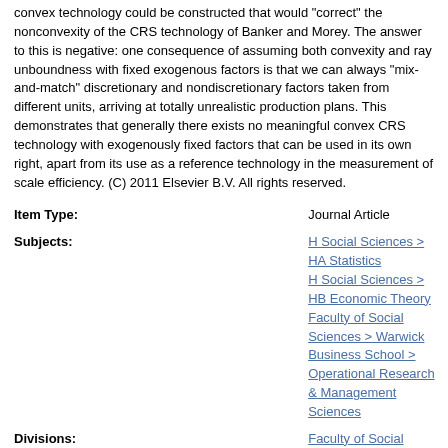convex technology could be constructed that would "correct" the nonconvexity of the CRS technology of Banker and Morey. The answer to this is negative: one consequence of assuming both convexity and ray unboundness with fixed exogenous factors is that we can always "mix-and-match" discretionary and nondiscretionary factors taken from different units, arriving at totally unrealistic production plans. This demonstrates that generally there exists no meaningful convex CRS technology with exogenously fixed factors that can be used in its own right, apart from its use as a reference technology in the measurement of scale efficiency. (C) 2011 Elsevier B.V. All rights reserved.
| Field | Value |
| --- | --- |
| Item Type: | Journal Article |
| Subjects: | H Social Sciences > HA Statistics
H Social Sciences > HB Economic Theory
Faculty of Social Sciences > Warwick Business School > Operational Research & Management Sciences |
| Divisions: | Faculty of Social Sciences > Warwick Business School > Operational Research & Management Sciences
Faculty of Social Sciences > Warwick Business School |
| Library of Congress Subject Headings (LCSH): | Data envelopment analysis, Economies of scale, Exogeneity (Econometrics) |
| Journal or Publication | European Journal of Operational Research |